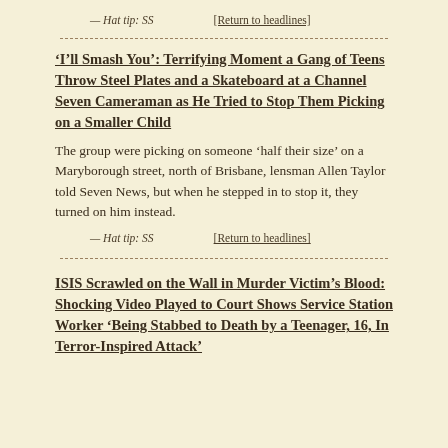— Hat tip: SS    [Return to headlines]
'I'll Smash You': Terrifying Moment a Gang of Teens Throw Steel Plates and a Skateboard at a Channel Seven Cameraman as He Tried to Stop Them Picking on a Smaller Child
The group were picking on someone 'half their size' on a Maryborough street, north of Brisbane, lensman Allen Taylor told Seven News, but when he stepped in to stop it, they turned on him instead.
— Hat tip: SS    [Return to headlines]
ISIS Scrawled on the Wall in Murder Victim's Blood: Shocking Video Played to Court Shows Service Station Worker 'Being Stabbed to Death by a Teenager, 16, In Terror-Inspired Attack'